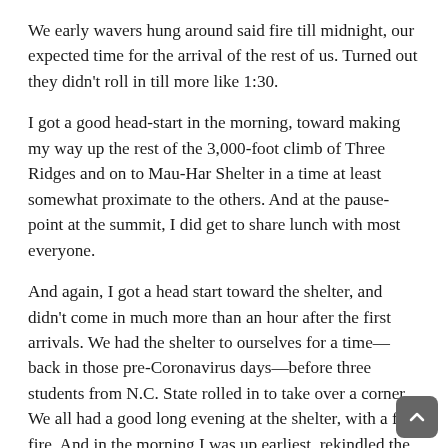We early wavers hung around said fire till midnight, our expected time for the arrival of the rest of us. Turned out they didn't roll in till more like 1:30.
I got a good head-start in the morning, toward making my way up the rest of the 3,000-foot climb of Three Ridges and on to Mau-Har Shelter in a time at least somewhat proximate to the others. And at the pause-point at the summit, I did get to share lunch with most everyone.
And again, I got a head start toward the shelter, and didn't come in much more than an hour after the first arrivals. We had the shelter to ourselves for a time—back in those pre-Coronavirus days—before three students from N.C. State rolled in to take over a corner. We all had a good long evening at the shelter, with a fine fire. And in the morning I was up earliest, rekindled the fire and got a good solid head start on the five miles back to the car, once again not coming in too long after the first arrivals.